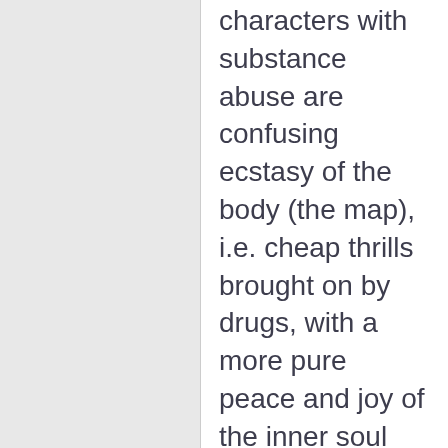characters with substance abuse are confusing ecstasy of the body (the map), i.e. cheap thrills brought on by drugs, with a more pure peace and joy of the inner soul (the territory); only really shown in the sobriety of Don G. in this novel. Like maybe the text implies that using drugs is trying to buy salvation in a bottle - which never works